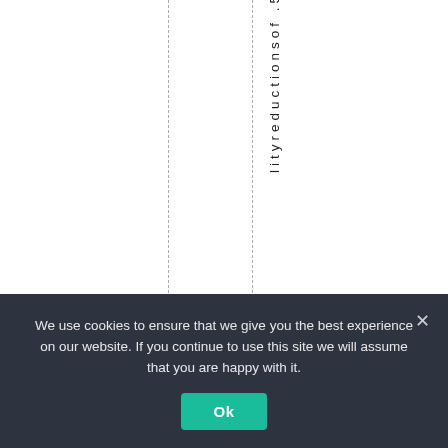lityreductionsof.5
We use cookies to ensure that we give you the best experience on our website. If you continue to use this site we will assume that you are happy with it. Ok